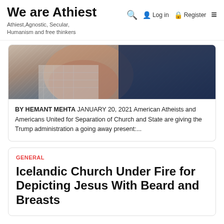We are Athiest — Athiest, Agnostic, Secular, Humanism and free thinkers
[Figure (photo): Close-up photograph of an elderly person's neck and shoulder area, wearing a plaid/checkered jacket, with dark blue background.]
BY HEMANT MEHTA  JANUARY 20, 2021 American Atheists and Americans United for Separation of Church and State are giving the Trump administration a going away present:...
GENERAL
Icelandic Church Under Fire for Depicting Jesus With Beard and Breasts